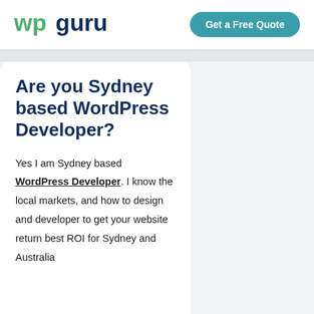[Figure (logo): wpguru logo with green 'wp' and dark blue 'guru' text]
Get a Free Quote
Are you Sydney based WordPress Developer?
Yes I am Sydney based WordPress Developer. I know the local markets, and how to design and developer to get your website return best ROI for Sydney and Australia